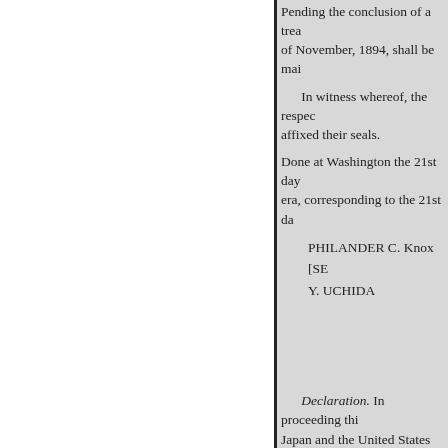Pending the conclusion of a treaty... of November, 1894, shall be maintained.
In witness whereof, the respective Plenipotentiaries have signed the present Agreement and affixed their seals.
Done at Washington the 21st day... era, corresponding to the 21st da...
PHILANDER C. Knox [SEAL]
Y. UCHIDA
Declaration. In proceeding thi... Japan and the United States the u... Government has the honor to dec... with equal effectiveness the limi... regulation of the emigration of la...
Y. UCHIDA. February 21, 19...
TREATY OF COMMERCE...